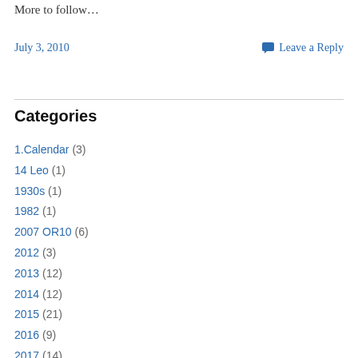More to follow…
July 3, 2010    Leave a Reply
Categories
1.Calendar (3)
14 Leo (1)
1930s (1)
1982 (1)
2007 OR10 (6)
2012 (3)
2013 (12)
2014 (12)
2015 (21)
2016 (9)
2017 (14)
2018 (24)